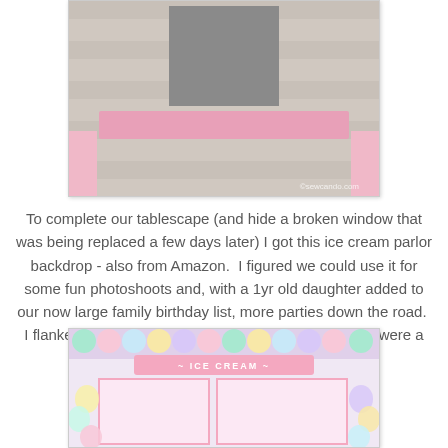[Figure (photo): Top portion of an ice cream parlor backdrop photo showing shingle siding with a pink horizontal bar, watermarked with sewcando.com]
To complete our tablescape (and hide a broken window that was being replaced a few days later) I got this ice cream parlor backdrop - also from Amazon.  I figured we could use it for some fun photoshoots and, with a 1yr old daughter added to our now large family birthday list, more parties down the road.  I flanked it with some of the party set balloons, which were a perfect color match:
[Figure (photo): Ice cream parlor backdrop with pastel balloons on either side, sign reads ICE CREAM with colorful scalloped border at top]